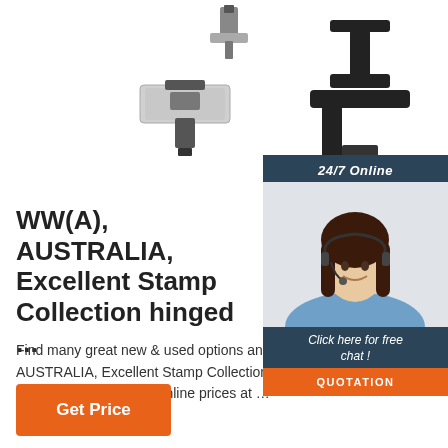[Figure (photo): Product images of black and silver stamp hinges/mounts hardware pieces shown on white background]
[Figure (photo): Chat widget with '24/7 Online' header, photo of smiling female customer service agent wearing headset, 'Click here for free chat!' text, and orange QUOTATION button]
WW(A), AUSTRALIA, Excellent Stamp Collection hinged ...
Find many great new & used options and best deals for WW(A), AUSTRALIA, Excellent Stamp Collection hinged/mounted in a Lighthouse at the best online prices at …
Get Price